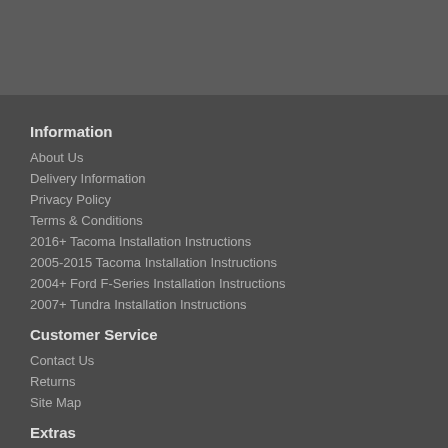Information
About Us
Delivery Information
Privacy Policy
Terms & Conditions
2016+ Tacoma Installation Instructions
2005-2015 Tacoma Installation Instructions
2004+ Ford F-Series Installation Instructions
2007+ Tundra Installation Instructions
Customer Service
Contact Us
Returns
Site Map
Extras
Brands
Gift Certificates
Affiliat...